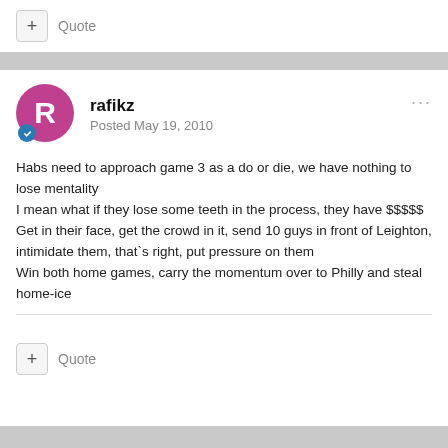+ Quote
rafikz
Posted May 19, 2010
Habs need to approach game 3 as a do or die, we have nothing to lose mentality
I mean what if they lose some teeth in the process, they have $$$$$
Get in their face, get the crowd in it, send 10 guys in front of Leighton, intimidate them, that`s right, put pressure on them
Win both home games, carry the momentum over to Philly and steal home-ice
+ Quote